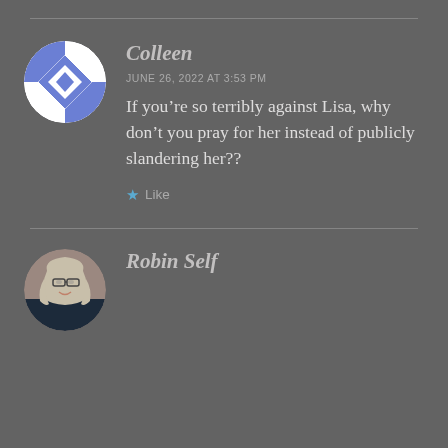[Figure (illustration): Quilt-pattern avatar for user Colleen — circular with blue and white geometric diamond/triangle shapes]
Colleen
JUNE 26, 2022 AT 3:53 PM
If you’re so terribly against Lisa, why don’t you pray for her instead of publicly slandering her??
★ Like
[Figure (photo): Profile photo of Robin Self — woman with shoulder-length blonde/gray hair and glasses, wearing dark clothing]
Robin Self